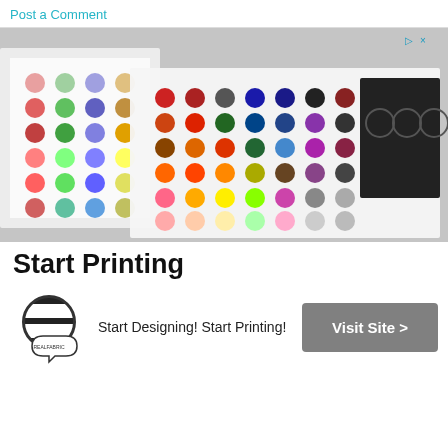Post a Comment
[Figure (photo): Color swatch booklets and fabric color sample cards spread open, showing rows of colored dots with labels, including a fabric printing color guide with various dot colors arranged in a grid, and a black fabric sample panel with circle cutouts at the right side.]
Start Printing
[Figure (logo): RealFabric logo: a yarn ball with horizontal stripe pattern and a speech bubble shape below, with 'REALFABRIC' text around the ball.]
Start Designing! Start Printing!
Visit Site >